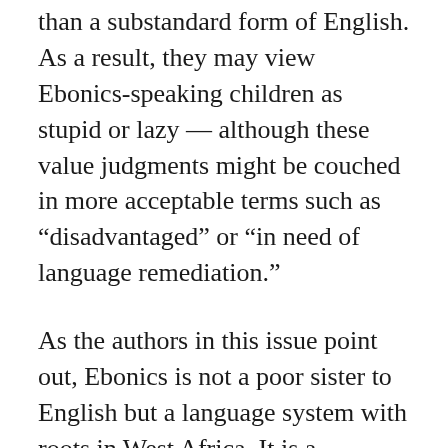recognize their language as anything other than a substandard form of English. As a result, they may view Ebonics-speaking children as stupid or lazy — although these value judgments might be couched in more acceptable terms such as “disadvantaged” or “in need of language remediation.”
As the authors in this issue point out, Ebonics is not a poor sister to English but a language system with roots in West Africa. It is a language that evolved in struggle and under conditions of extreme oppression — a creative response to a slave society that did its best to erase African language and culture. As the slave masters knew, language is